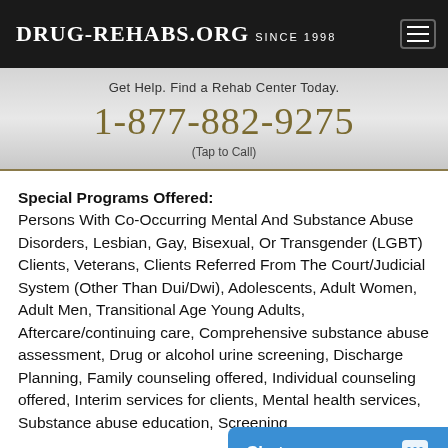Drug-Rehabs.org Since 1998
Get Help. Find a Rehab Center Today.
1-877-882-9275
(Tap to Call)
Special Programs Offered: Persons With Co-Occurring Mental And Substance Abuse Disorders, Lesbian, Gay, Bisexual, Or Transgender (LGBT) Clients, Veterans, Clients Referred From The Court/Judicial System (Other Than Dui/Dwi), Adolescents, Adult Women, Adult Men, Transitional Age Young Adults, Aftercare/continuing care, Comprehensive substance abuse assessment, Drug or alcohol urine screening, Discharge Planning, Family counseling offered, Individual counseling offered, Interim services for clients, Mental health services, Substance abuse education, Screening